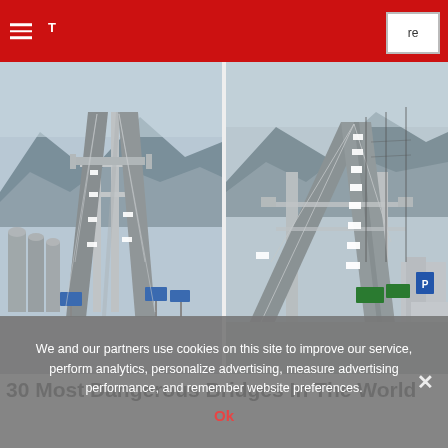Navigation bar with hamburger menu and search/share button
[Figure (photo): Two side-by-side photos of the Eshima Ohashi Bridge in Japan, an extremely steep cable-stayed bridge with cars visible going over the steep incline, industrial silos and city visible in background, hazy mountains in distance]
30 Most Dangerous Bridges In The World
We and our partners use cookies on this site to improve our service, perform analytics, personalize advertising, measure advertising performance, and remember website preferences.
Ok